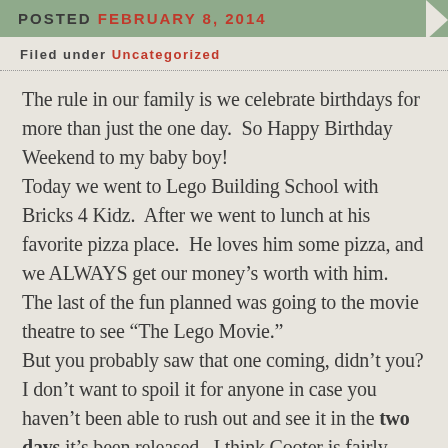POSTED FEBRUARY 8, 2014
Filed under Uncategorized
The rule in our family is we celebrate birthdays for more than just the one day.  So Happy Birthday Weekend to my baby boy!
Today we went to Lego Building School with Bricks 4 Kidz.  After we went to lunch at his favorite pizza place.  He loves him some pizza, and we ALWAYS get our money's worth with him.  The last of the fun planned was going to the movie theatre to see “The Lego Movie.”
But you probably saw that one coming, didn’t you?
I don’t want to spoil it for anyone in case you haven’t been able to rush out and see it in the two days it’s been released.  I think Cooter is fairly certain that this movie